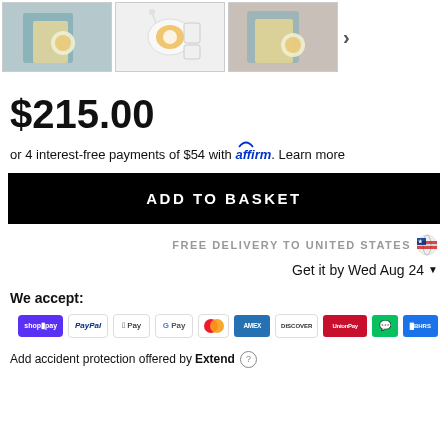[Figure (photo): Three product thumbnail images showing a product (appears to be a personal care device) with its box, components laid out, and packaged again. A right arrow navigation button is visible.]
$215.00
or 4 interest-free payments of $54 with affirm. Learn more
ADD TO BASKET
FREE DELIVERY TO UNITED STATES 🇺🇸
Get it by Wed Aug 24 ▼
We accept:
[Figure (infographic): Payment method icons: Shop Pay, PayPal, Apple Pay, Google Pay, Mastercard, Amex, Discover, UnionPay, WeChat Pay, and another payment icon.]
Add accident protection offered by Extend (?)